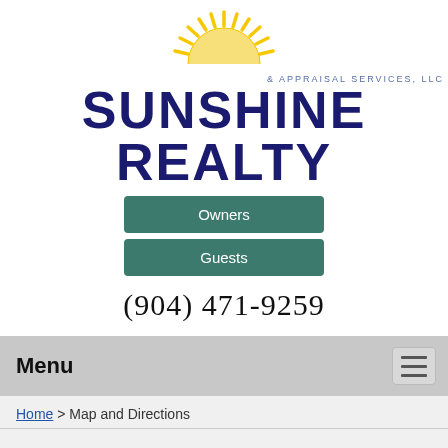[Figure (logo): Sunshine Realty & Appraisal Services LLC logo with sun graphic and bold navy text]
Owners
Guests
(904) 471-9259
Menu
Home > Map and Directions
Directions to Sunshine Realty